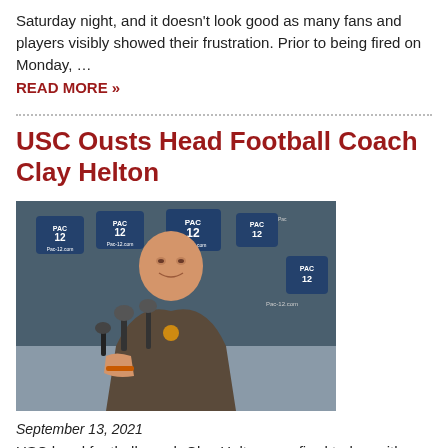Saturday night, and it doesn't look good as many fans and players visibly showed their frustration. Prior to being fired on Monday, …
READ MORE »
USC Ousts Head Football Coach Clay Helton
[Figure (photo): Clay Helton, USC head football coach, at a press conference with Pac-12 branding in the background]
September 13, 2021
USC head football coach Clay Helton was fired today, with university Athletic Director Mike …